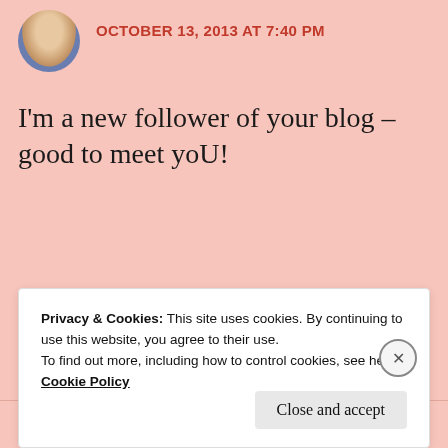OCTOBER 13, 2013 AT 7:40 PM
I'm a new follower of your blog – good to meet yoU!
★ Like
REPLY
Privacy & Cookies: This site uses cookies. By continuing to use this website, you agree to their use.
To find out more, including how to control cookies, see here: Cookie Policy
Close and accept